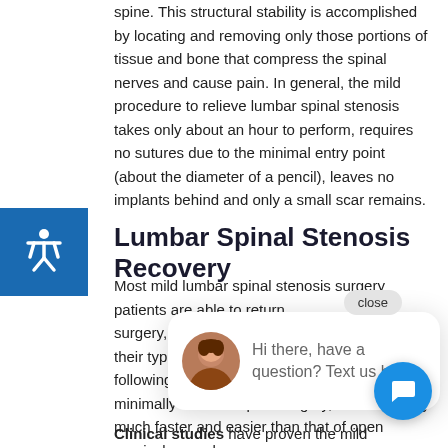spine. This structural stability is accomplished by locating and removing only those portions of tissue and bone that compress the spinal nerves and cause pain. In general, the mild procedure to relieve lumbar spinal stenosis takes only about an hour to perform, requires no sutures due to the minimal entry point (about the diameter of a pencil), leaves no implants behind and only a small scar remains.
Lumbar Spinal Stenosis Recovery
Most mild lumbar spinal stenosis surgery patients are able to return surgery, mild p their typical ro following the m minimally invasive spine surgery, is also usually much faster and easier than that of open surgical procedures.
Clinical studies have proven the mild decompression